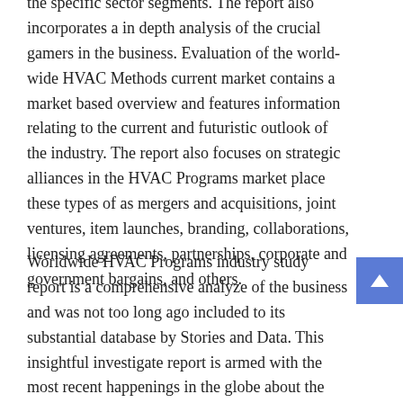the specific sector segments. The report also incorporates a in depth analysis of the crucial gamers in the business. Evaluation of the world-wide HVAC Methods current market contains a market based overview and features information relating to the current and futuristic outlook of the industry. The report also focuses on strategic alliances in the HVAC Programs market place these types of as mergers and acquisitions, joint ventures, item launches, branding, collaborations, licensing agreements, partnerships, corporate and government bargains, and others.
Worldwide HVAC Programs industry study report is a comprehensive analyze of the business and was not too long ago included to its substantial database by Stories and Data. This insightful investigate report is armed with the most recent happenings in the globe about the coronavirus pandemic. The report provides a detailed